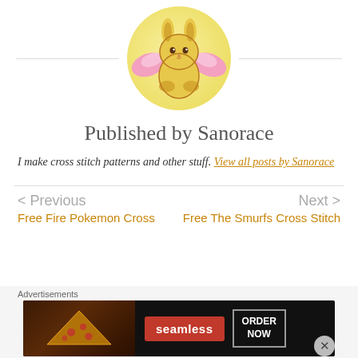[Figure (illustration): Circular avatar with yellow background showing a cute cartoon bunny/rabbit with pink angel wings, drawn in a kawaii style]
Published by Sanorace
I make cross stitch patterns and other stuff. View all posts by Sanorace
< Previous
Next >
Free Fire Pokemon Cross
Free The Smurfs Cross Stitch
[Figure (screenshot): Seamless food delivery advertisement banner showing pizza with 'seamless' logo and 'ORDER NOW' button]